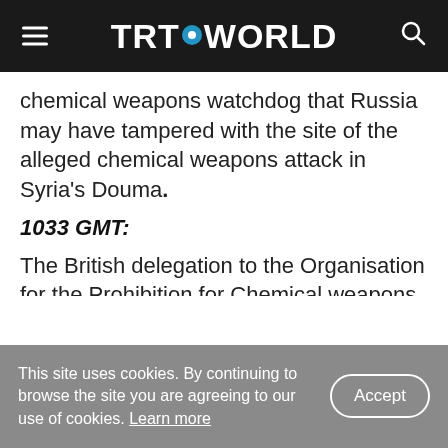TRT WORLD
chemical weapons watchdog that Russia may have tampered with the site of the alleged chemical weapons attack in Syria's Douma.
1033 GMT:
The British delegation to the Organisation for the Prohibition for Chemical weapons said, citing the agency's director general, that inspectors have not yet been granted access to sites in Douma.
0920 GMT:
This site uses cookies. By continuing to browse the site you are agreeing to our use of cookies. Learn more